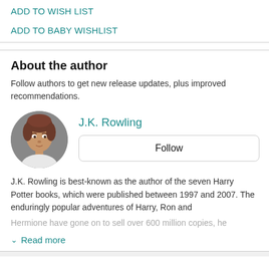ADD TO WISH LIST
ADD TO BABY WISHLIST
About the author
Follow authors to get new release updates, plus improved recommendations.
J.K. Rowling
Follow
J.K. Rowling is best-known as the author of the seven Harry Potter books, which were published between 1997 and 2007. The enduringly popular adventures of Harry, Ron and Hermione have gone on to sell over 600 million copies, he
Read more